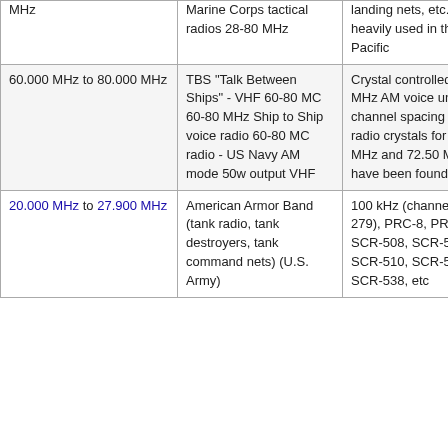| Frequency | Usage/Description | Notes |
| --- | --- | --- |
| MHz | Marine Corps tactical radios 28-80 MHz | landing nets, etc. heavily used in the Pacific |
| 60.000 MHz to 80.000 MHz | TBS "Talk Between Ships" - VHF 60-80 MC 60-80 MHz Ship to Ship voice radio 60-80 MC radio - US Navy AM mode 50w output VHF | Crystal controlled 60-80 MHz AM voice unknown channel spacing - TBS radio crystals for 65.74 MHz and 72.50 MHz have been found |
| 20.000 MHz to 27.900 MHz | American Armor Band (tank radio, tank destroyers, tank command nets) (U.S. Army) | 100 kHz (channels 200-279), PRC-8, PRC-8A, SCR-508, SCR-509, SCR-510, SCR-528, SCR-538, etc |